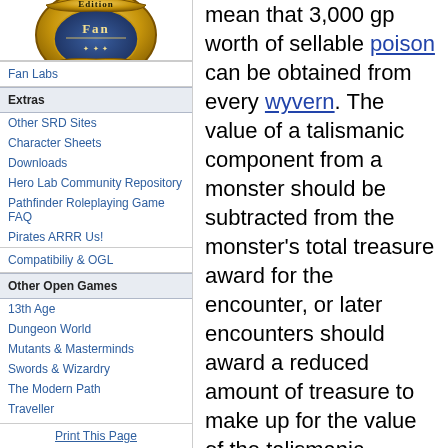[Figure (logo): Edition Fan gold and blue badge/seal logo]
Fan Labs
Extras
Other SRD Sites
Character Sheets
Downloads
Hero Lab Community Repository
Pathfinder Roleplaying Game FAQ
Pirates ARRR Us!
Compatibiliy & OGL
Other Open Games
13th Age
Dungeon World
Mutants & Masterminds
Swords & Wizardry
The Modern Path
Traveller
Print This Page
mean that 3,000 gp worth of sellable poison can be obtained from every wyvern. The value of a talismanic component from a monster should be subtracted from the monster’s total treasure award for the encounter, or later encounters should award a reduced amount of treasure to make up for the value of the talismanic component.
Acquiring a talismanic component from a monster or natural feature might not be easy or automatic. Plucking a rare herb without damaging its magical properties might require a Profession (herbalist) check. Harvesting an intact glowing crystal from a mithral